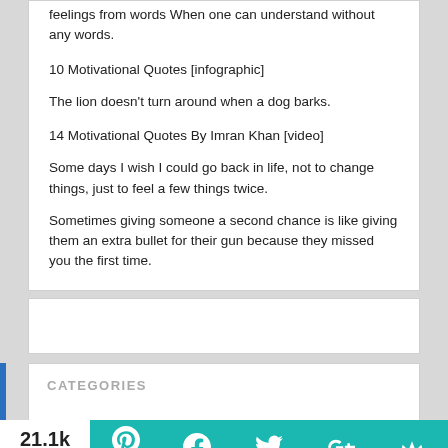feelings from words When one can understand without any words.
10 Motivational Quotes [infographic]
The lion doesn't turn around when a dog barks.
14 Motivational Quotes By Imran Khan [video]
Some days I wish I could go back in life, not to change things, just to feel a few things twice.
Sometimes giving someone a second chance is like giving them an extra bullet for their gun because they missed you the first time.
CATEGORIES
21.1k Shares